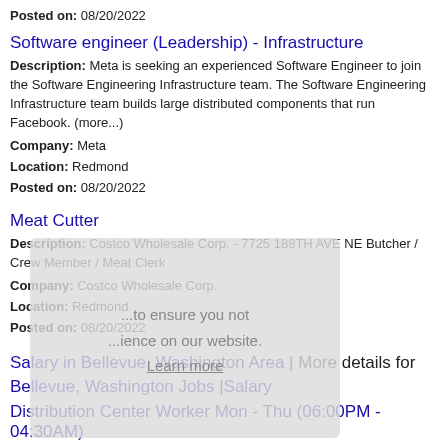Posted on: 08/20/2022
Software engineer (Leadership) - Infrastructure
Description: Meta is seeking an experienced Software Engineer to join the Software Engineering Infrastructure team. The Software Engineering Infrastructure team builds large distributed components that run Facebook. (more...)
Company: Meta
Location: Redmond
Posted on: 08/20/2022
Meat Cutter
Description: Costco Wholesale Corp. - 7725 188TH AVE NE Butcher / Crew Member / Meat Clerk
Company: Costco Wholesale Corp.
Location: Redmond
Posted on: 08/20/2022
Salary in Bellevue, Washington Area | More details for Bellevue, Washington Jobs |Salary
Distribution Center Worker Mon - Thu (06:00PM - 04:30AM)